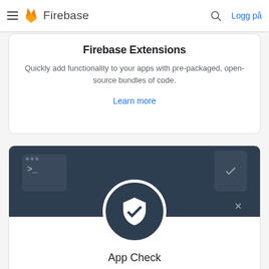Firebase
Firebase Extensions
Quickly add functionality to your apps with pre-packaged, open-source bundles of code.
Learn more
[Figure (illustration): Firebase App Check illustration showing a terminal window and phone icon on dark background with a shield checkmark circle in the center]
App Check
Help protect your app from abuse by attesting that